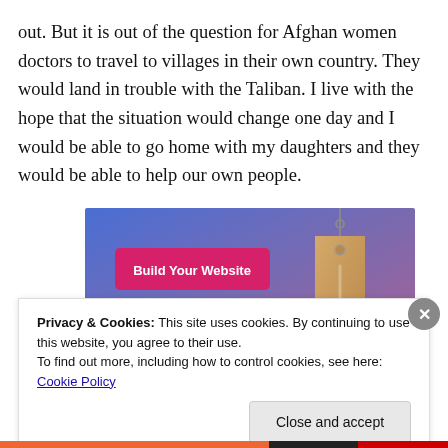out. But it is out of the question for Afghan women doctors to travel to villages in their own country. They would land in trouble with the Taliban. I live with the hope that the situation would change one day and I would be able to go home with my daughters and they would be able to help our own people.
[Figure (screenshot): Advertisement banner with gradient blue-purple background, a pink/magenta button labeled 'Build Your Website', and a tan price tag hanging from a hook on the right side.]
Privacy & Cookies: This site uses cookies. By continuing to use this website, you agree to their use.
To find out more, including how to control cookies, see here: Cookie Policy
Close and accept